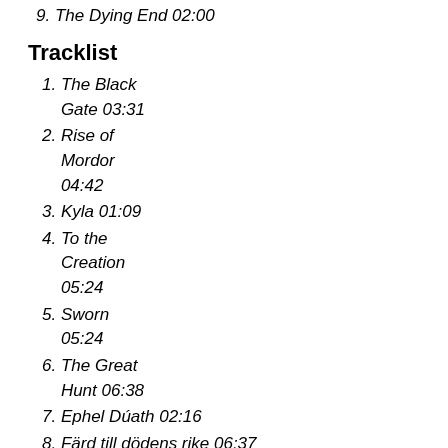9. The Dying End 02:00
Tracklist
1. The Black Gate 03:31
2. Rise of Mordor 04:42
3. Kyla 01:09
4. To the Creation 05:24
5. Sworn 05:24
6. The Great Hunt 06:38
7. Ephel Dúath 02:16
8. Färd till dödens rike 06:37